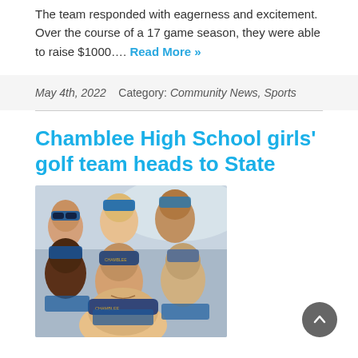The team responded with eagerness and excitement. Over the course of a 17 game season, they were able to raise $1000…. Read More »
May 4th, 2022    Category: Community News, Sports
Chamblee High School girls' golf team heads to State
[Figure (photo): Group selfie photo of Chamblee High School girls golf team members wearing blue caps and uniforms, smiling together outdoors.]